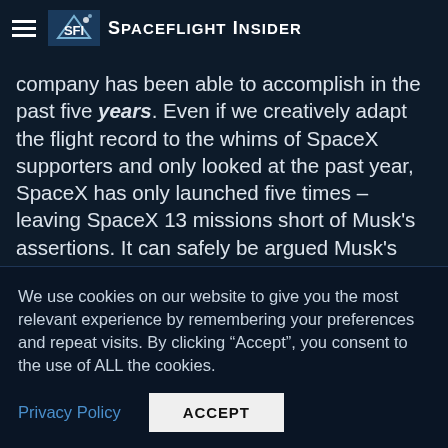Spaceflight Insider
company has been able to accomplish in the past five years. Even if we creatively adapt the flight record to the whims of SpaceX supporters and only looked at the past year, SpaceX has only launched five times – leaving SpaceX 13 missions short of Musk's assertions. It can safely be argued Musk's statement is inaccurate.
SpaceX is pummeled in terms of the amount of launches conducted annually by companies such as
We use cookies on our website to give you the most relevant experience by remembering your preferences and repeat visits. By clicking “Accept”, you consent to the use of ALL the cookies.
Privacy Policy
ACCEPT